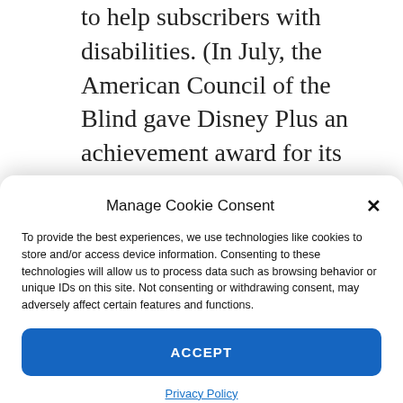to help subscribers with disabilities. (In July, the American Council of the Blind gave Disney Plus an achievement award for its descriptive audio, specialized tracks that describe the settings and the action taking place alongside a program's dialogue.)
Disney Plus offers parental controls in the form of kids profiles. You can designate any
Manage Cookie Consent
To provide the best experiences, we use technologies like cookies to store and/or access device information. Consenting to these technologies will allow us to process data such as browsing behavior or unique IDs on this site. Not consenting or withdrawing consent, may adversely affect certain features and functions.
ACCEPT
Privacy Policy